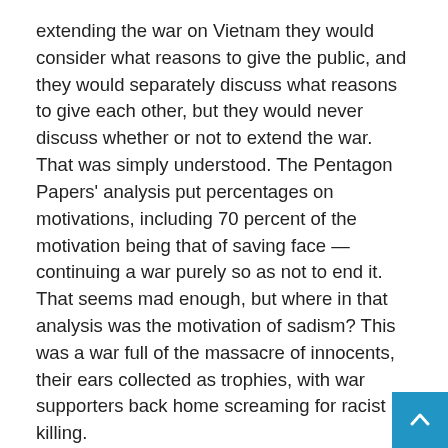extending the war on Vietnam they would consider what reasons to give the public, and they would separately discuss what reasons to give each other, but they would never discuss whether or not to extend the war. That was simply understood. The Pentagon Papers’ analysis put percentages on motivations, including 70 percent of the motivation being that of saving face — continuing a war purely so as not to end it. That seems mad enough, but where in that analysis was the motivation of sadism? This was a war full of the massacre of innocents, their ears collected as trophies, with war supporters back home screaming for racist killing.
In recent wars, you can — as a fraction of the U.S. population does — claim to be supporting the destruction of Iraq or Libya as an act of philanthropy for the benefit of its victims, but you’ll find yourself on the same side of the issue with those shouting for blood, urging the use of nuclear weapons. Participants in these